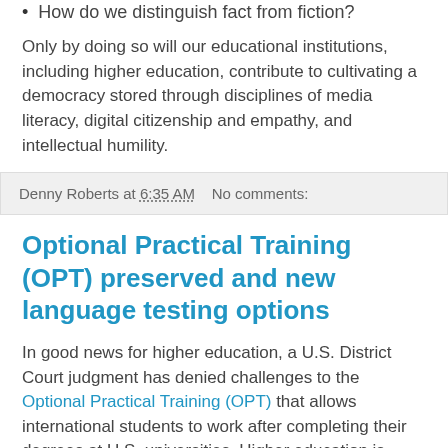How do we distinguish fact from fiction?
Only by doing so will our educational institutions, including higher education, contribute to cultivating a democracy stored through disciplines of media literacy, digital citizenship and empathy, and intellectual humility.
Denny Roberts at 6:35 AM   No comments:
Optional Practical Training (OPT) preserved and new language testing options
In good news for higher education, a U.S. District Court judgment has denied challenges to the Optional Practical Training (OPT) that allows international students to work after completing their degrees at U.S. universities. Higher education is beginning to breath easier as the tables turn back toward the U.S. being a preferred destination for international students. OPT is an essential piece of making